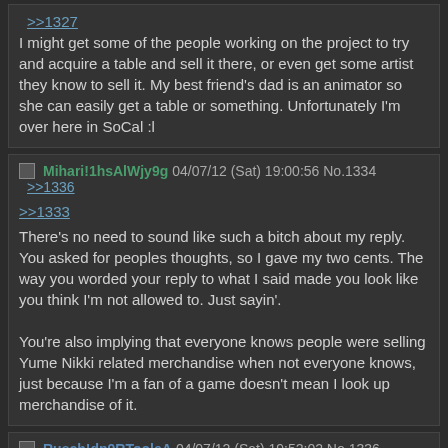>>1327
I might get some of the people working on the project to try and acquire a table and sell it there, or even get some artist they know to sell it. My best friend's dad is an animator so she can easily get a table or something. Unfortunately I'm over here in SoCal :l
Mihari!1hsAlWjy9g 04/07/12 (Sat) 19:00:56 No.1334 >>1336
>>1333
There's no need to sound like such a bitch about my reply. You asked for peoples thoughts, so I gave my two cents. The way you worded your reply to what I said made you look like you think I'm not allowed to. Just sayin'.

You're also implying that everyone knows people were selling Yume Nikki related merchandise when not everyone knows, just because I'm a fan of a game doesn't mean I look up merchandise of it.
Rusch!dp9RTooleA 04/07/12 (Sat) 19:52:02 No.1336 >>1342
>>1334
Ah I see. Well, yeah. Merchandising is important. And I'm sorry if I came off as a "bitch". I was just flustered because it seemed that you were making a big deal over it.